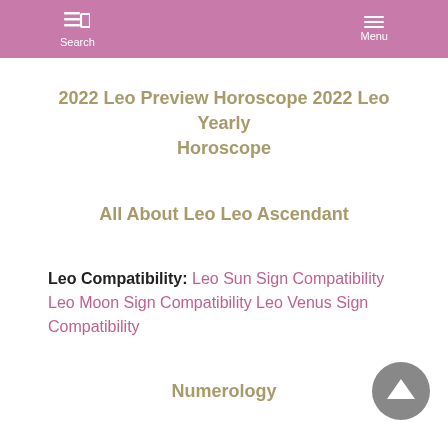Search Menu
2022 Leo Preview Horoscope 2022 Leo Yearly Horoscope
All About Leo Leo Ascendant
Leo Compatibility: Leo Sun Sign Compatibility Leo Moon Sign Compatibility Leo Venus Sign Compatibility
Numerology